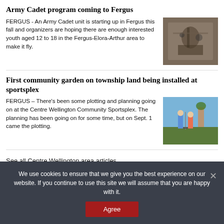Army Cadet program coming to Fergus
FERGUS - An Army Cadet unit is starting up in Fergus this fall and organizers are hoping there are enough interested youth aged 12 to 18 in the Fergus-Elora-Arthur area to make it fly.
[Figure (photo): Photo of army cadet equipment or gear]
First community garden on township land being installed at sportsplex
FERGUS – There's been some plotting and planning going on at the Centre Wellington Community Sportsplex. The planning has been going on for some time, but on Sept. 1 came the plotting.
[Figure (photo): Photo of people at the community garden or sportsplex]
See all Centre Wellington area articles.
We use cookies to ensure that we give you the best experience on our website. If you continue to use this site we will assume that you are happy with it.